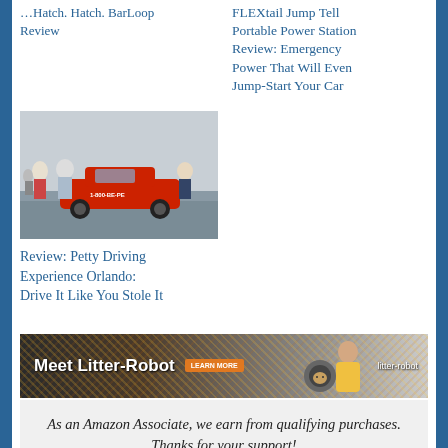Review
FLEXtail Jump Tell Portable Power Station Review: Emergency Power That Will Even Jump-Start Your Car
[Figure (photo): Photo of people around a red NASCAR-style race car on a track, with '1-800-BE-PE' visible on the car door]
Review: Petty Driving Experience Orlando: Drive It Like You Stole It
[Figure (other): Litter-Robot advertisement banner: 'Meet Litter-Robot' with orange LEARN MORE button and woman with cat]
As an Amazon Associate, we earn from qualifying purchases. Thanks for your support!